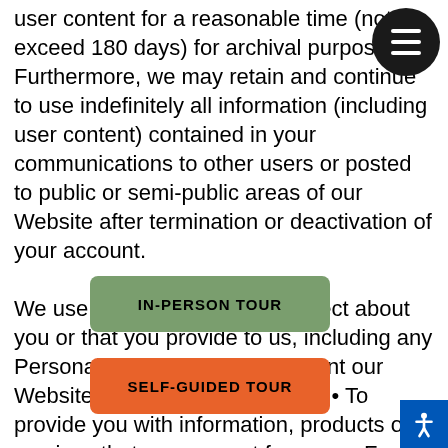user content for a reasonable time (not to exceed 180 days) for archival purposes. Furthermore, we may retain and continue to use indefinitely all information (including user content) contained in your communications to other users or posted to public or semi-public areas of our Website after termination or deactivation of your account.

We use information that we collect about you or that you provide to us, including any Personal Information: • To present our Website and its contents to you. • To provide you with information, products or services that you request from us. • For analyzing how the Service is used, diagnosing service or technical problems, security, and personalizing content. • To fulfill any other purpose for which you provide it. • To provide you with notices about your account, including expiration and renewal notices. • To operate, maintain, and provide to you the features
[Figure (other): Hamburger menu button — dark circle with three horizontal white lines]
[Figure (other): Green rounded rectangle button labeled IN-PERSON TOUR]
[Figure (other): Orange rounded rectangle button labeled SELF-GUIDED TOUR]
[Figure (other): Blue accessibility icon button in bottom-right corner]